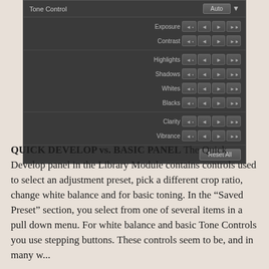[Figure (screenshot): Screenshot of Adobe Lightroom Quick Develop panel showing Tone Control section with Auto button, and controls for Exposure, Contrast, Highlights, Shadows, Whites, Blacks, Clarity, Vibrance, each with stepping buttons, and a Reset All button at the bottom.]
QUICK DEVELOP vs. BASIC PANEL The Quick Develop panel in the Library Module contains controls used to select an adjustment preset, pick a different crop ratio, change white balance and for basic toning. In the "Saved Preset" section, you select from one of several items in a pull down menu. For white balance and basic Tone Controls you use stepping buttons. These controls seem to be, and in many w...